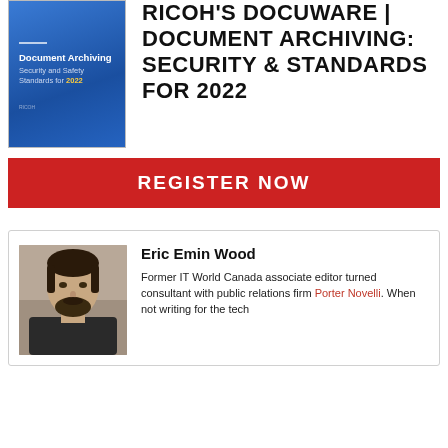[Figure (illustration): Book cover for 'Document Archiving Security and Safety Standards for 2022' with blue gradient background and yellow year text]
RICOH'S DOCUWARE | DOCUMENT ARCHIVING: SECURITY & STANDARDS FOR 2022
REGISTER NOW
[Figure (photo): Headshot photo of Eric Emin Wood, a man with dark hair and beard]
Eric Emin Wood
Former IT World Canada associate editor turned consultant with public relations firm Porter Novelli. When not writing for the tech